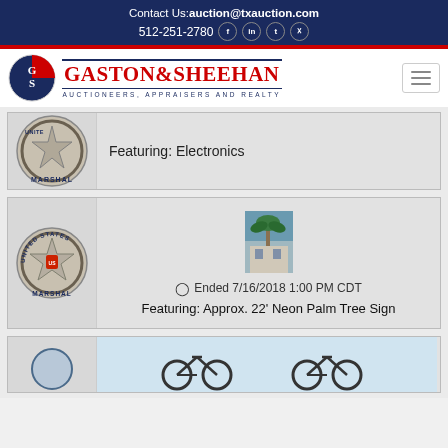Contact Us: auction@txauction.com
512-251-2780
[Figure (logo): Gaston & Sheehan Auctioneers, Appraisers and Realty logo with GS monogram circle]
Featuring: Electronics
[Figure (photo): Small thumbnail of building with palm tree]
Ended 7/16/2018 1:00 PM CDT
Featuring: Approx. 22' Neon Palm Tree Sign
[Figure (photo): Partial view of bicycles]